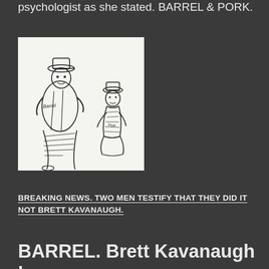psychologist as she stated. BARREL & PORK.
[Figure (illustration): Black and white cartoon illustration of two characters labeled 'Barrel' and 'Pork' wearing striped clothing and hats. The larger figure labeled Barrel stands tall on the left, while the smaller figure labeled Pork kneels on the right.]
BREAKING NEWS. TWO MEN TESTIFY THAT THEY DID IT NOT BRETT KAVANAUGH.
BARREL. Brett Kavanaugh has